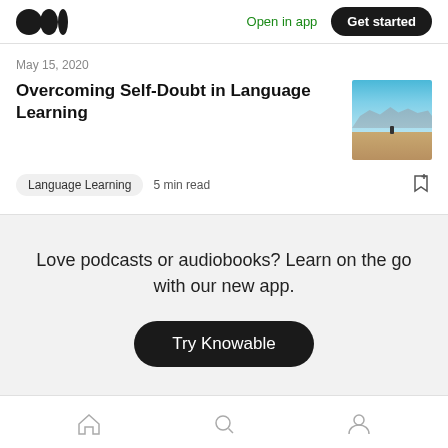Medium logo | Open in app | Get started
May 15, 2020
Overcoming Self-Doubt in Language Learning
[Figure (photo): Thumbnail photo of a person standing on a flat desert landscape with mountains and blue sky in the background]
Language Learning   5 min read
Love podcasts or audiobooks? Learn on the go with our new app.
Try Knowable
Home | Search | Profile navigation icons